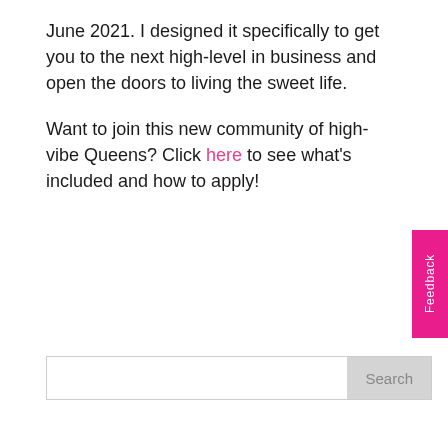June 2021. I designed it specifically to get you to the next high-level in business and open the doors to living the sweet life.
Want to join this new community of high-vibe Queens? Click here to see what's included and how to apply!